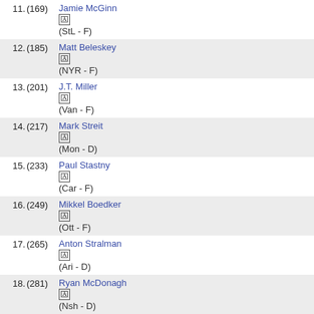11. (169) Jamie McGinn (StL - F)
12. (185) Matt Beleskey (NYR - F)
13. (201) J.T. Miller (Van - F)
14. (217) Mark Streit (Mon - D)
15. (233) Paul Stastny (Car - F)
16. (249) Mikkel Boedker (Ott - F)
17. (265) Anton Stralman (Ari - D)
18. (281) Ryan McDonagh (Nsh - D)
19. (297) Michael Cammalleri (Edm - F)
20. (313) Victor Hedman